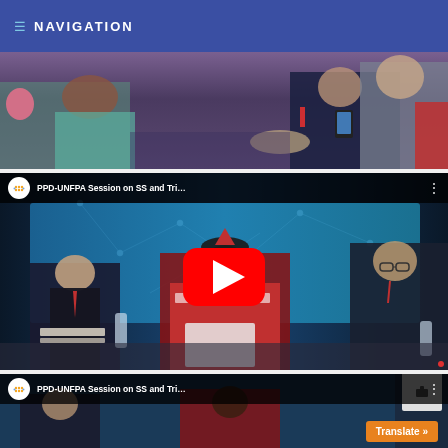☰ NAVIGATION
[Figure (photo): Audience members seated at a conference event, photographed from behind/side, showing people in formal attire]
[Figure (screenshot): YouTube video embed: PPD-UNFPA Session on SS and Tri... showing three panelists seated on stage with a blue digital background, with a YouTube play button overlay]
[Figure (screenshot): Partial YouTube video embed: PPD-UNFPA Session on SS and Tri... showing thumbnail with YouTube channel logo]
Translate »